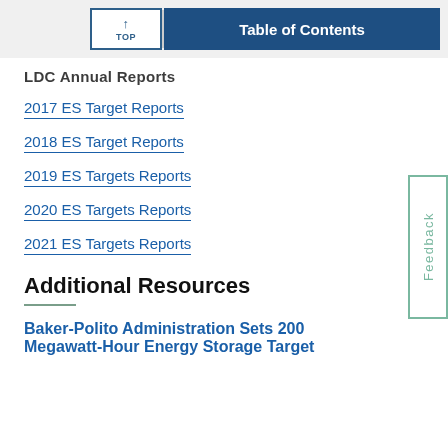TOP | Table of Contents
LDC Annual Reports
2017 ES Target Reports
2018 ES Target Reports
2019 ES Targets Reports
2020 ES Targets Reports
2021 ES Targets Reports
Additional Resources
Baker-Polito Administration Sets 200 Megawatt-Hour Energy Storage Target